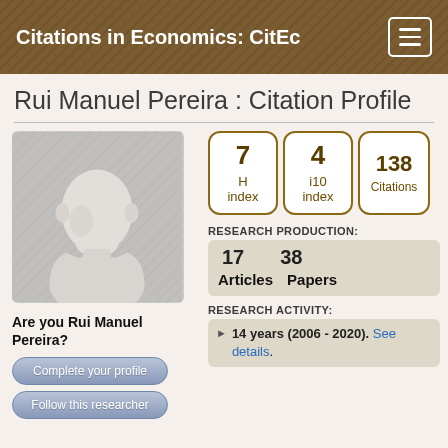Citations in Economics: CitEc
Rui Manuel Pereira : Citation Profile
[Figure (illustration): Generic silhouette placeholder avatar of a person, grey tones]
7 H index
4 i10 index
138 Citations
RESEARCH PRODUCTION:
17 Articles   38 Papers
Are you Rui Manuel Pereira?
Complete your profile
Follow this researcher
RESEARCH ACTIVITY:
14 years (2006 - 2020). See details.